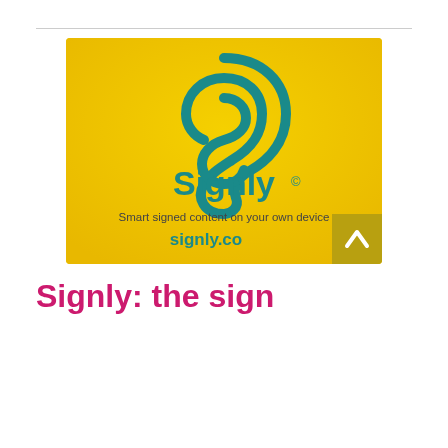[Figure (logo): Signly logo on yellow background with ear-shaped S icon, text 'Signly©', 'Smart signed content on your own device', and 'signly.co'. Back-to-top arrow button in bottom right corner.]
Signly: the sign